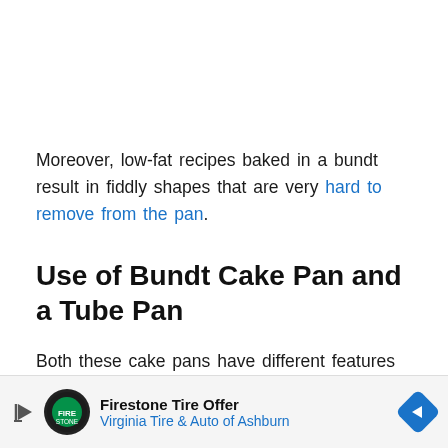Moreover, low-fat recipes baked in a bundt result in fiddly shapes that are very hard to remove from the pan.
Use of Bundt Cake Pan and a Tube Pan
Both these cake pans have different features and are used for different purposes.
There former the... for b...
[Figure (other): Advertisement banner for Firestone Tire Offer - Virginia Tire & Auto of Ashburn, with Firestone logo and blue navigation arrow icon]